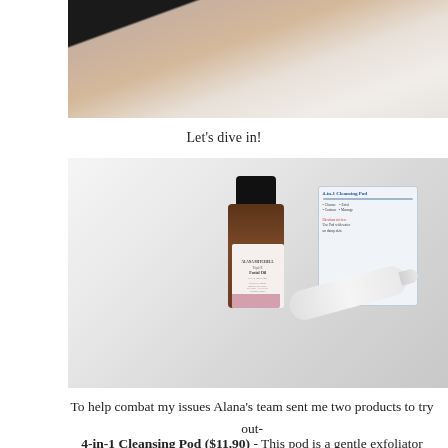[Figure (photo): Cropped photo showing a person's hand/arm against a light background, upper portion of the image]
Let's dive in!
[Figure (photo): Product photo showing an Alana Mitchell facial oil bottle (amber glass with black cap and pink label) and a 4-in-1 Cleansing Pod with dropper/applicator on a white surface]
To help combat my issues Alana's team sent me two products to try out-
4-in-1 Cleansing Pod ($11.90) - This pod is a gentle exfoliator